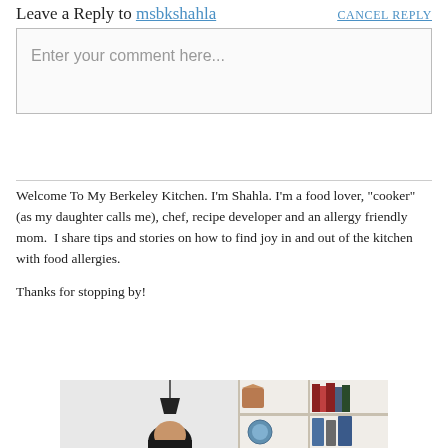Leave a Reply to msbkshahla CANCEL REPLY
Enter your comment here...
Welcome To My Berkeley Kitchen. I'm Shahla. I'm a food lover, "cooker" (as my daughter calls me), chef, recipe developer and an allergy friendly mom.  I share tips and stories on how to find joy in and out of the kitchen with food allergies.

Thanks for stopping by!
[Figure (photo): A person (Shahla) photographed in front of a bookshelf with items on the shelves, partial view cropped at bottom of page.]